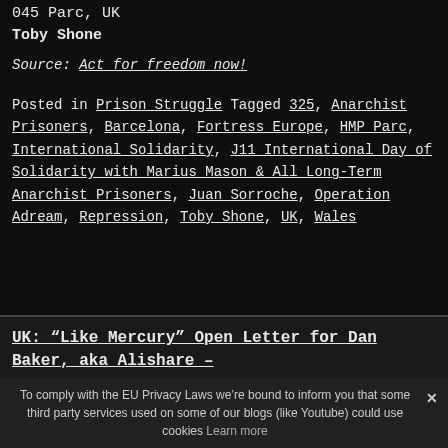045 Parc, UK
Toby Shone
Source: Act for freedom now!
Posted in Prison Struggle Tagged 325, Anarchist Prisoners, Barcelona, Fortress Europe, HMP Parc, International Solidarity, J11 International Day of Solidarity with Marius Mason & All Long-Term Anarchist Prisoners, Juan Sorroche, Operation Adream, Repression, Toby Shone, UK, Wales
UK: “Like Mercury” Open Letter for Dan Baker, aka Alishare –
To comply with the EU Privacy Laws we’re bound to inform you that some third party services used on some of our blogs (like Youtube) could use cookies Learn more